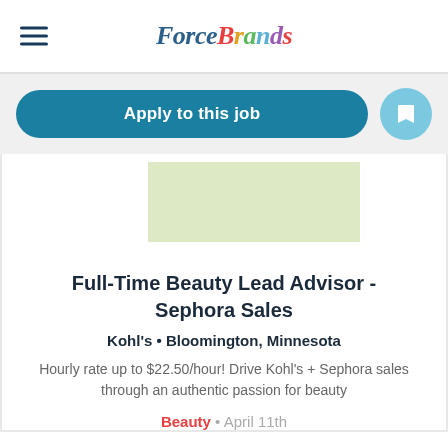ForceBrands
Apply to this job
[Figure (other): Green/light colored placeholder image rectangle]
Full-Time Beauty Lead Advisor - Sephora Sales
Kohl's • Bloomington, Minnesota
Hourly rate up to $22.50/hour! Drive Kohl's + Sephora sales through an authentic passion for beauty
Beauty • April 11th